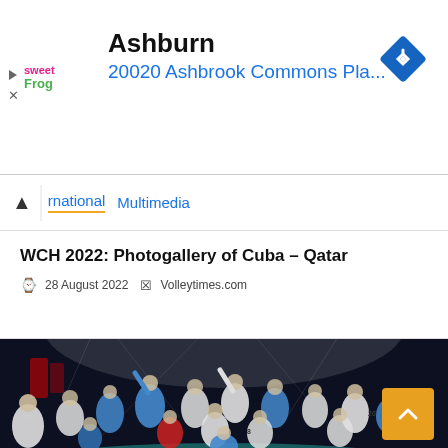[Figure (advertisement): sweetFrog advertisement banner with text 'Ashburn' and '20020 Ashbrook Commons Pla...' and navigation diamond icon]
rnational  Multimedia
WCH 2022: Photogallery of Cuba – Qatar
28 August 2022   Volleytimes.com
[Figure (photo): A volleyball team celebrating on court, large group photo with arena lights in background]